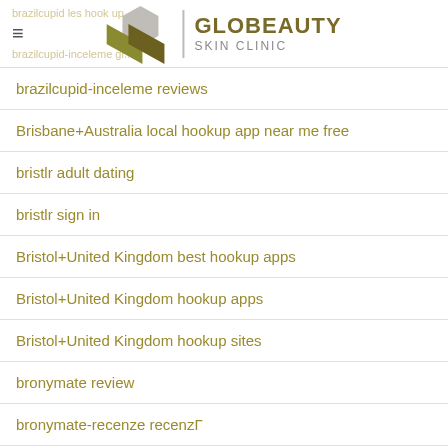GLOBEAUTY SKIN CLINIC
brazilcupid-inceleme reviews
Brisbane+Australia local hookup app near me free
bristlr adult dating
bristlr sign in
Bristol+United Kingdom best hookup apps
Bristol+United Kingdom hookup apps
Bristol+United Kingdom hookup sites
bronymate review
bronymate-recenze recenzГ
brownsville reviews